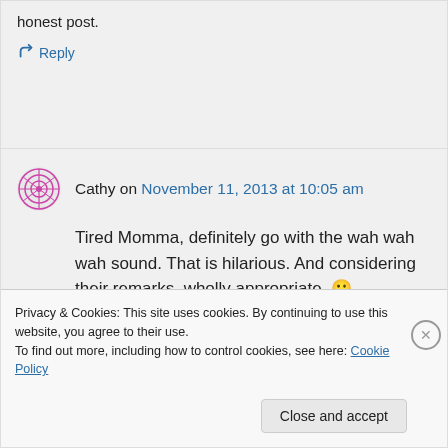honest post.
↳ Reply
Cathy on November 11, 2013 at 10:05 am
Tired Momma, definitely go with the wah wah wah sound. That is hilarious. And considering their remarks, wholly appropriate. 🙂
Privacy & Cookies: This site uses cookies. By continuing to use this website, you agree to their use.
To find out more, including how to control cookies, see here: Cookie Policy
Close and accept